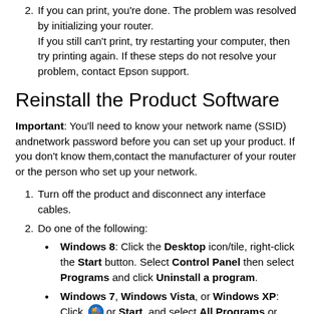2. If you can print, you're done. The problem was resolved by initializing your router. If you still can't print, try restarting your computer, then try printing again. If these steps do not resolve your problem, contact Epson support.
Reinstall the Product Software
Important: You'll need to know your network name (SSID) andnetwork password before you can set up your product. If you don't know them,contact the manufacturer of your router or the person who set up your network.
1. Turn off the product and disconnect any interface cables.
2. Do one of the following:
Windows 8: Click the Desktop icon/tile, right-click the Start button. Select Control Panel then select Programs and click Uninstall a program.
Windows 7, Windows Vista, or Windows XP: Click [Windows icon] or Start, and select All Programs or Programs.
3. Select EPSON, select your product, then select EPSON